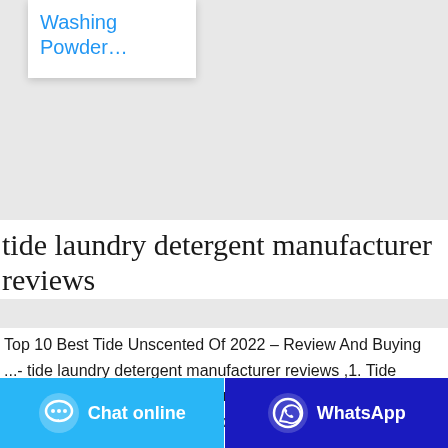Washing Powder…
tide laundry detergent manufacturer reviews
Top 10 Best Tide Unscented Of 2022 – Review And Buying ...- tide laundry detergent manufacturer reviews ,1. Tide PODS Free and Gentle, Laundry Detergent Soap PODS, HE, 96 Count – Unscented and Hypoallergenic for Sensitive Skin, Free and Clear of Dyes and Perfumes, Dermatologist Recommended, Tested for Tough Stains
Chat online
WhatsApp